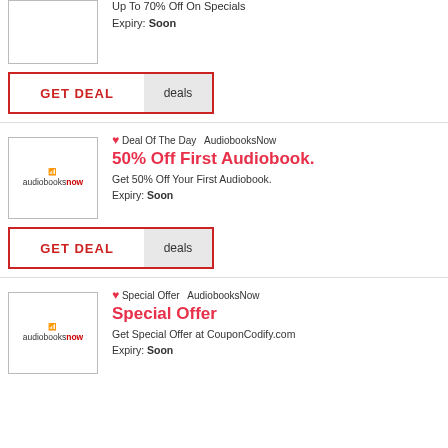Up To 70% Off On Specials
Expiry: Soon
[Figure (screenshot): GET DEAL button with red border, left side red text 'GET DEAL', right side grey 'deals']
Deal Of The Day  AudiobooksNow
[Figure (logo): AudiobooksNow logo in box]
50% Off First Audiobook.
Get 50% Off Your First Audiobook.
Expiry: Soon
[Figure (screenshot): GET DEAL button with red border, left side red text 'GET DEAL', right side grey 'deals']
Special Offer  AudiobooksNow
[Figure (logo): AudiobooksNow logo in box]
Special Offer
Get Special Offer at CouponCodify.com
Expiry: Soon